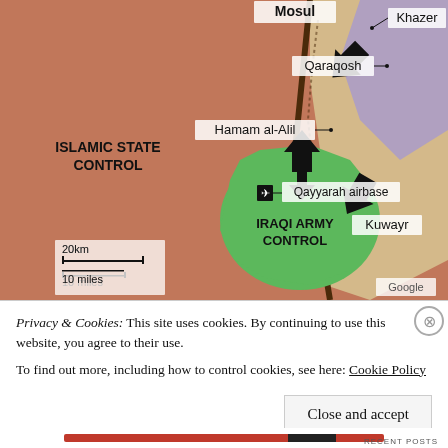[Figure (map): Military control map showing the Mosul area of Iraq. Regions colored in terracotta/reddish-brown indicate Islamic State Control. Green region shows Iraqi Army Control around Qayyarah airbase. Tan/beige areas in east. Labels include: Mosul (top center), Khazer (top right with arrow), Qaraqosh, Hamam al-Alil, Kuwayr, Qayyarah airbase (with airplane icon), ISLAMIC STATE CONTROL (left), IRAQI ARMY CONTROL (green region). Black arrows indicate troop advance directions. Scale: 20km / 10 miles shown bottom left. Google attribution bottom right.]
Privacy & Cookies: This site uses cookies. By continuing to use this website, you agree to their use.
To find out more, including how to control cookies, see here: Cookie Policy
Close and accept